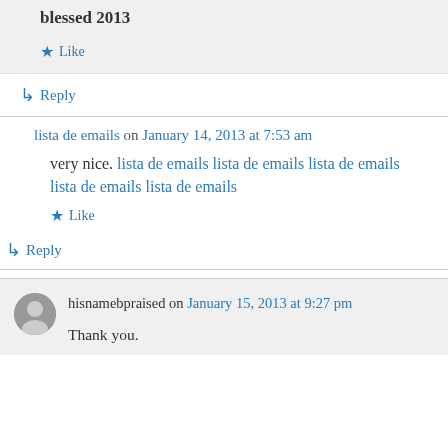blessed 2013
★ Like
↳ Reply
lista de emails on January 14, 2013 at 7:53 am
very nice. lista de emails lista de emails lista de emails lista de emails lista de emails
★ Like
↳ Reply
hisnamebpraised on January 15, 2013 at 9:27 pm
Thank you.